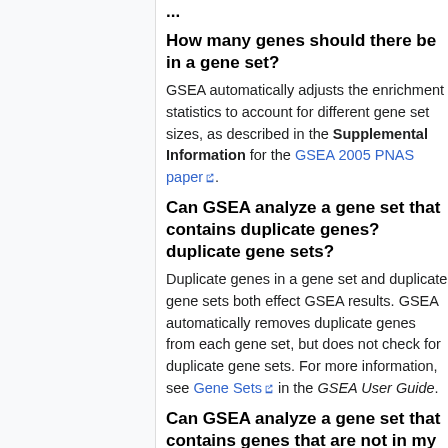How many genes should there be in a gene set?
GSEA automatically adjusts the enrichment statistics to account for different gene set sizes, as described in the Supplemental Information for the GSEA 2005 PNAS paper.
Can GSEA analyze a gene set that contains duplicate genes? duplicate gene sets?
Duplicate genes in a gene set and duplicate gene sets both effect GSEA results. GSEA automatically removes duplicate genes from each gene set, but does not check for duplicate gene sets. For more information, see Gene Sets in the GSEA User Guide.
Can GSEA analyze a gene set that contains genes that are not in my expression dataset?
The gene set enrichment analysis automatically restricts the gene sets to the